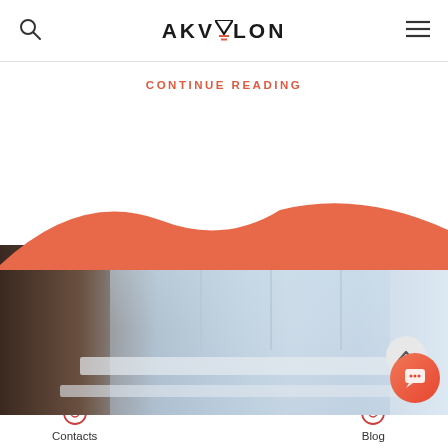AKVELON
CONTINUE READING
[Figure (photo): Blurred architectural photo of a building exterior with white window frames and ledges, brownish wall on left side]
Contacts   Blog